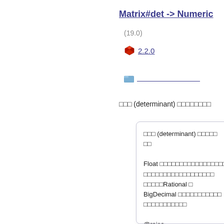Matrix#det -> Numeric
(19.0)
2.2.0
ссссссссс
ссс (determinant) сссссссс
ссс (determinant) ссссссcc

Float ссссссссссссссссссссссссссссссссссссссссссcRational с BigDecimal сссссссссссссссссссссссссссс

@raise ExceptionForMatrix::ErrDim сссссссссссссс